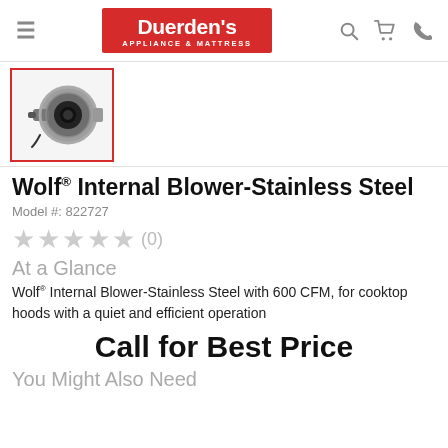Duerden's Appliance & Mattress
[Figure (photo): Thumbnail image of Wolf Internal Blower-Stainless Steel product, a metallic cylindrical blower unit]
Wolf® Internal Blower-Stainless Steel
Model #: 822727
★★★★★ (0)
At a Glance
Wolf® Internal Blower-Stainless Steel with 600 CFM, for cooktop hoods with a quiet and efficient operation
Call for Best Price
You Might Also Need